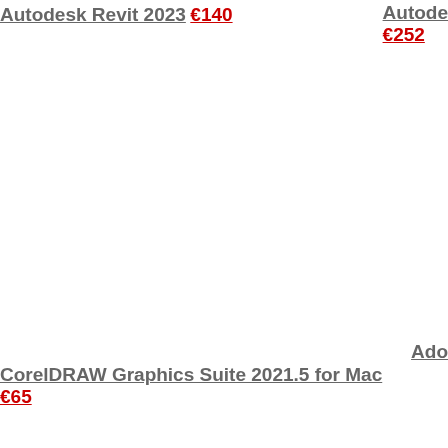Autodesk Revit 2023 €140
Autode… €252
CorelDRAW Graphics Suite 2021.5 for Mac €65
Ado…